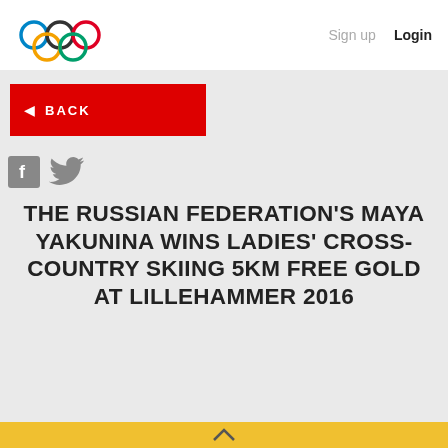[Figure (logo): Olympic rings logo — five interlocking rings in blue, black, red, yellow, and green]
Sign up   Login
[Figure (other): Red BACK button with left arrow]
[Figure (other): Facebook and Twitter social share icons]
THE RUSSIAN FEDERATION'S MAYA YAKUNINA WINS LADIES' CROSS-COUNTRY SKIING 5KM FREE GOLD AT LILLEHAMMER 2016